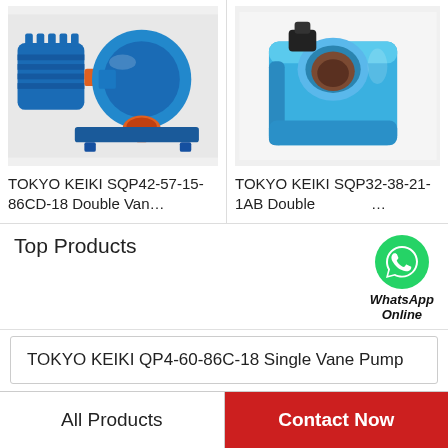[Figure (photo): Blue industrial double vane pump with motor, TOKYO KEIKI SQP42-57-15-86CD-18]
[Figure (photo): Blue hydraulic solenoid coil component, TOKYO KEIKI SQP32-38-21-1AB Double Vane type]
TOKYO KEIKI SQP42-57-15-86CD-18 Double Van…
TOKYO KEIKI SQP32-38-21- 1AB Double…
Top Products
WhatsApp Online
TOKYO KEIKI QP4-60-86C-18 Single Vane Pump
DAIKIN VZ80C44RHX-10 VZ80 Series Piston Pump
All Products   Contact Now